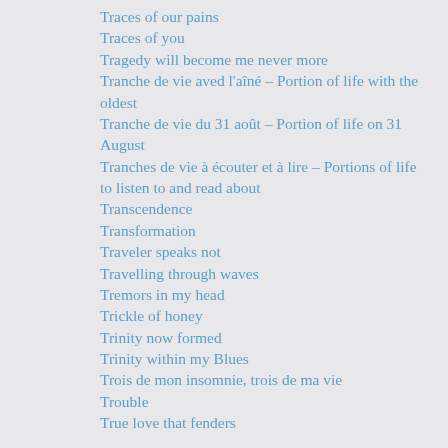Traces of our pains
Traces of you
Tragedy will become me never more
Tranche de vie aved l'aîné – Portion of life with the oldest
Tranche de vie du 31 août – Portion of life on 31 August
Tranches de vie à écouter et à lire – Portions of life to listen to and read about
Transcendence
Transformation
Traveler speaks not
Travelling through waves
Tremors in my head
Trickle of honey
Trinity now formed
Trinity within my Blues
Trois de mon insomnie, trois de ma vie
Trouble
True love that fenders